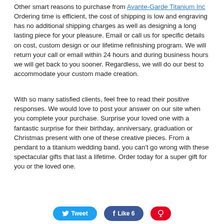Other smart reasons to purchase from Avante-Garde Titanium Inc Ordering time is efficient, the cost of shipping is low and engraving has no additional shipping charges as well as designing a long lasting piece for your pleasure. Email or call us for specific details on cost, custom design or our lifetime refinishing program. We will return your call or email within 24 hours and during business hours we will get back to you sooner. Regardless, we will do our best to accommodate your custom made creation.
With so many satisfied clients, feel free to read their positive responses. We would love to post your answer on our site when you complete your purchase. Surprise your loved one with a fantastic surprise for their birthday, anniversary, graduation or Christmas present with one of these creative pieces. From a pendant to a titanium wedding band, you can't go wrong with these spectacular gifts that last a lifetime. Order today for a super gift for you or the loved one.
[Figure (other): Social sharing buttons: Tweet (blue), Like (blue/Facebook), and a red Pinterest-style button]